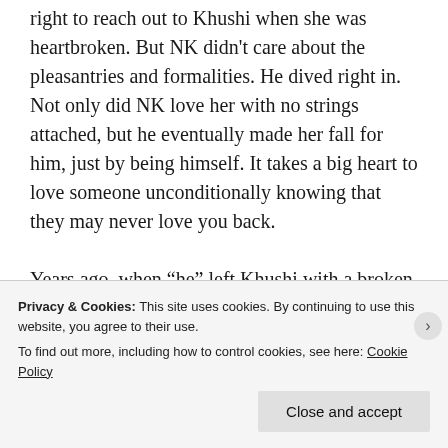right to reach out to Khushi when she was heartbroken. But NK didn't care about the pleasantries and formalities. He dived right in. Not only did NK love her with no strings attached, but he eventually made her fall for him, just by being himself. It takes a big heart to love someone unconditionally knowing that they may never love you back.

Years ago, when “he” left Khushi with a broken heart. NK was right besides her to gather the
Privacy & Cookies: This site uses cookies. By continuing to use this website, you agree to their use.
To find out more, including how to control cookies, see here: Cookie Policy